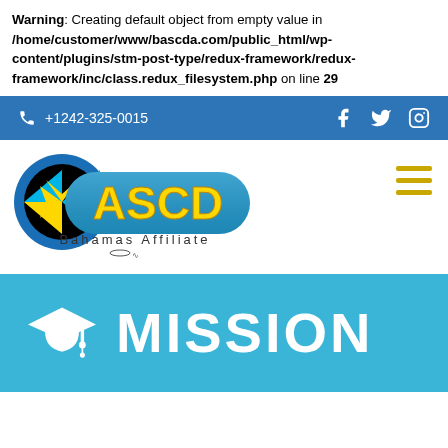Warning: Creating default object from empty value in /home/customer/www/bascda.com/public_html/wp-content/plugins/stm-post-type/redux-framework/redux-framework/inc/class.redux_filesystem.php on line 29
+1242-325-0015
[Figure (logo): BASCD Bahamas Affiliate logo with globe and yellow text]
MISSION